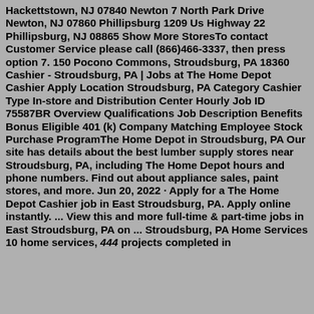Hackettstown, NJ 07840 Newton 7 North Park Drive Newton, NJ 07860 Phillipsburg 1209 Us Highway 22 Phillipsburg, NJ 08865 Show More StoresTo contact Customer Service please call (866)466-3337, then press option 7. 150 Pocono Commons, Stroudsburg, PA 18360 Cashier - Stroudsburg, PA | Jobs at The Home Depot Cashier Apply Location Stroudsburg, PA Category Cashier Type In-store and Distribution Center Hourly Job ID 75587BR Overview Qualifications Job Description Benefits Bonus Eligible 401 (k) Company Matching Employee Stock Purchase ProgramThe Home Depot in Stroudsburg, PA Our site has details about the best lumber supply stores near Stroudsburg, PA, including The Home Depot hours and phone numbers. Find out about appliance sales, paint stores, and more. Jun 20, 2022 · Apply for a The Home Depot Cashier job in East Stroudsburg, PA. Apply online instantly. ... View this and more full-time & part-time jobs in East Stroudsburg, PA on ... Stroudsburg, PA Home Services 10 home services, 444 projects completed in